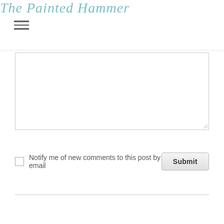The Painted Hammer
[Figure (screenshot): Comment text area input box, empty, with resize handle at bottom right]
Notify me of new comments to this post by email
[Figure (screenshot): Submit button]